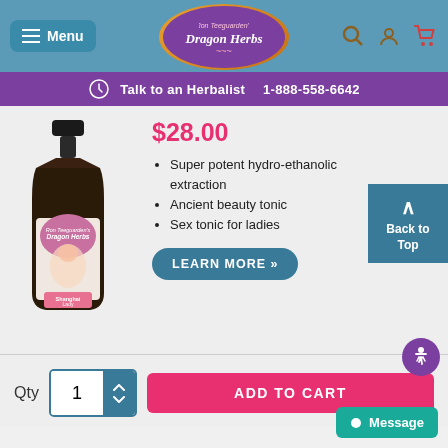[Figure (screenshot): Dragon Herbs website navigation bar with Menu button, Dragon Herbs logo, and icons for search, account, and cart]
Talk to an Herbalist  1-888-558-6642
[Figure (photo): Dragon Herbs Shanghai Lady herbal tincture bottle with dropper cap]
$28.00
Super potent hydro-ethanolic extraction
Ancient beauty tonic
Sex tonic for ladies
LEARN MORE »
Back to Top
Qty  1  ADD TO CART
Message